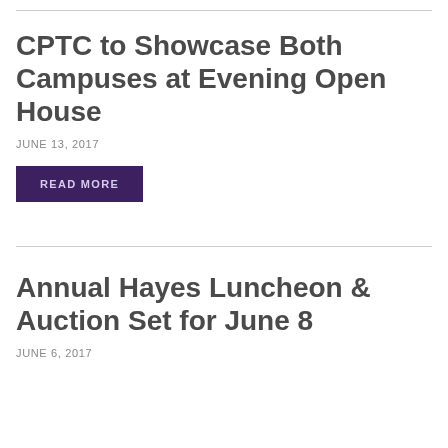CPTC to Showcase Both Campuses at Evening Open House
JUNE 13, 2017
READ MORE
Annual Hayes Luncheon & Auction Set for June 8
JUNE 6, 2017